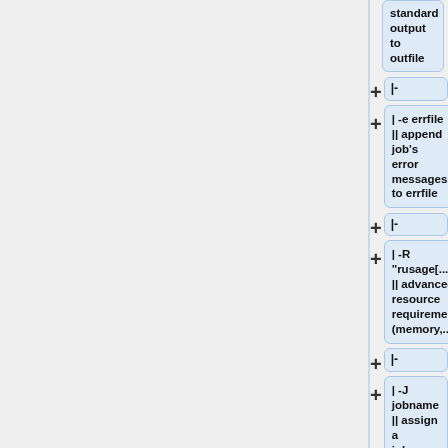[Figure (flowchart): Flowchart showing a sequence of bsub command options connected by '+|-' connectors. Top box (truncated): 'standard output to outfile'. Then connector '+|-', then node '| -e errfile || append job's error messages to errfile'. Then connector '+|-', then node '| -R "rusage[...]" || advanced resource requirement (memory,...)'. Then connector '+|-', then node '| -J jobname || assign a jobname to the job'.]